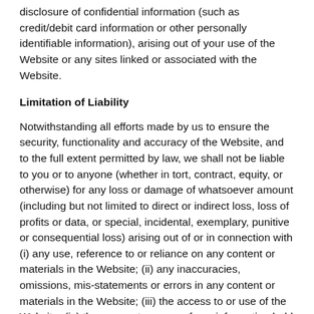disclosure of confidential information (such as credit/debit card information or other personally identifiable information), arising out of your use of the Website or any sites linked or associated with the Website.
Limitation of Liability
Notwithstanding all efforts made by us to ensure the security, functionality and accuracy of the Website, and to the full extent permitted by law, we shall not be liable to you or to anyone (whether in tort, contract, equity, or otherwise) for any loss or damage of whatsoever amount (including but not limited to direct or indirect loss, loss of profits or data, or special, incidental, exemplary, punitive or consequential loss) arising out of or in connection with (i) any use, reference to or reliance on any content or materials in the Website; (ii) any inaccuracies, omissions, mis-statements or errors in any content or materials in the Website; (iii) the access to or use of the Website; (iv) the access to or use of any information held on or through the Website by unauthorised third parties; (v) any delays, disruptions, defects, failures, or technical errors caused by the Website; (vi) any acts, omissions